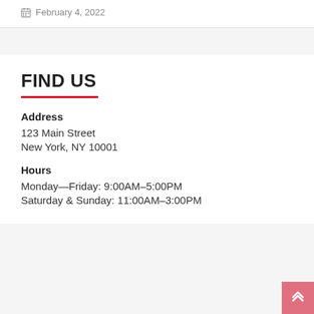February 4, 2022
FIND US
Address
123 Main Street
New York, NY 10001
Hours
Monday—Friday: 9:00AM–5:00PM
Saturday & Sunday: 11:00AM–3:00PM